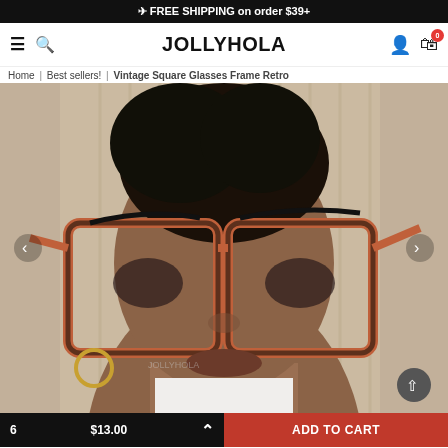FREE SHIPPING on order $39+
JOLLYHOLA — Home | Best sellers! | Vintage Square Glasses Frame Retro
Home | Best sellers! | Vintage Square Glasses Frame Retro
[Figure (photo): Woman wearing large vintage square glasses frames with orange/tortoise gradient, selfie photo]
6   $13.00    ADD TO CART